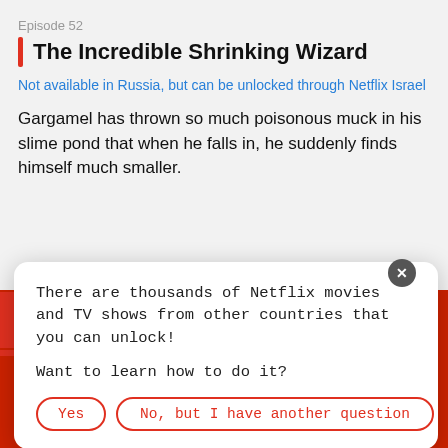Episode 52
The Incredible Shrinking Wizard
Not available in Russia, but can be unlocked through Netflix Israel
Gargamel has thrown so much poisonous muck in his slime pond that when he falls in, he suddenly finds himself much smaller.
[Figure (screenshot): Screenshot of a Netflix episode listing for The Smurfs, Episode 52 - The Incredible Shrinking Wizard. A popup overlay reads: There are thousands of Netflix movies and TV shows from other countries that you can unlock! Want to learn how to do it? With Yes and No, but I have another question buttons. Background shows The Smurfs cartoon image.]
There are thousands of Netflix movies and TV shows from other countries that you can unlock!
Want to learn how to do it?
Yes
No, but I have another question